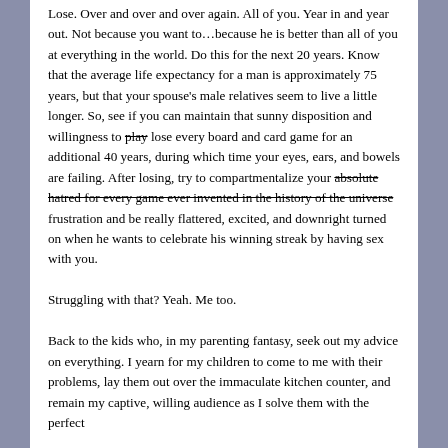Lose. Over and over and over again. All of you. Year in and year out. Not because you want to…because he is better than all of you at everything in the world. Do this for the next 20 years. Know that the average life expectancy for a man is approximately 75 years, but that your spouse's male relatives seem to live a little longer. So, see if you can maintain that sunny disposition and willingness to play lose every board and card game for an additional 40 years, during which time your eyes, ears, and bowels are failing. After losing, try to compartmentalize your absolute hatred for every game ever invented in the history of the universe frustration and be really flattered, excited, and downright turned on when he wants to celebrate his winning streak by having sex with you.

Struggling with that? Yeah. Me too.

Back to the kids who, in my parenting fantasy, seek out my advice on everything. I yearn for my children to come to me with their problems, lay them out over the immaculate kitchen counter, and remain my captive, willing audience as I solve them with the perfect